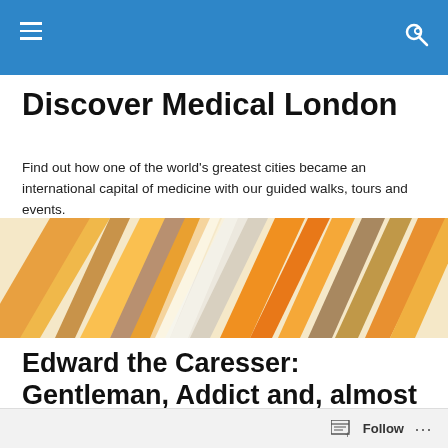Discover Medical London — navigation bar
Discover Medical London
Find out how one of the world's greatest cities became an international capital of medicine with our guided walks, tours and events.
[Figure (illustration): Decorative geometric banner with overlapping orange, tan, and grey diamond/chevron shapes on a warm background]
Edward the Caresser: Gentleman, Addict and, almost by accident, rather a fine King
Follow